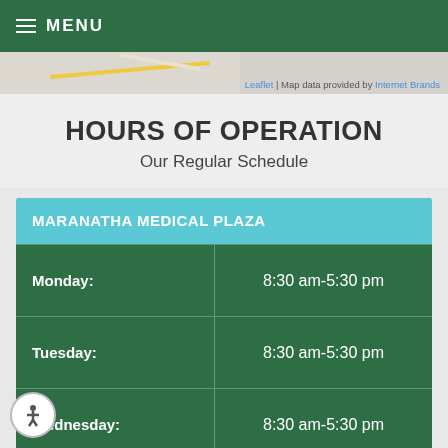≡ MENU
[Figure (map): Partial map strip with attribution: Leaflet | Map data provided by Internet Brands]
HOURS OF OPERATION
Our Regular Schedule
| MARANATHA MEDICAL PLAZA |  |
| --- | --- |
| Monday: | 8:30 am-5:30 pm |
| Tuesday: | 8:30 am-5:30 pm |
| Wednesday: | 8:30 am-5:30 pm |
| Thursday: | 8:30 am-5:30 pm |